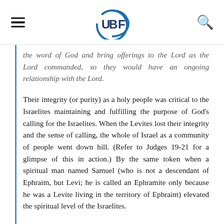UBF
the word of God and bring offerings to the Lord as the Lord commanded, so they would have an ongoing relationship with the Lord.
Their integrity (or purity) as a holy people was critical to the Israelites maintaining and fulfilling the purpose of God's calling for the Israelites. When the Levites lost their integrity and the sense of calling, the whole of Israel as a community of people went down hill. (Refer to Judges 19-21 for a glimpse of this in action.) By the same token when a spiritual man named Samuel (who is not a descendant of Ephraim, but Levi; he is called an Ephramite only because he was a Levite living in the territory of Ephraim) elevated the spiritual level of the Israelites.
Indeed the spiritual well being of a nation [and certainly all peoples of all nations living on the whole surface of the world] depends on the well being of the Levites. By the time Jesus came, those who were supposed to serve the priestly duties became corrupt. They turned the Lord's temple into a den of robbers. In order to restore Israel back to the original purpose of calling, that is, a kingdom